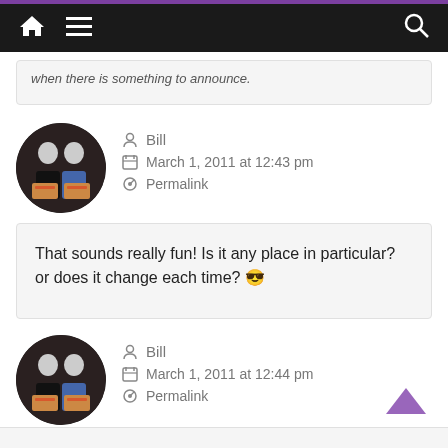Navigation bar with home, menu, and search icons
when there is something to announce.
Bill
March 1, 2011 at 12:43 pm
Permalink
That sounds really fun! Is it any place in particular? or does it change each time? 😎
Bill
March 1, 2011 at 12:44 pm
Permalink